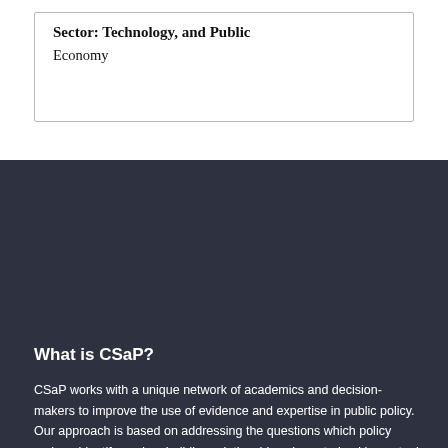Economy
What is CSaP?
CSaP works with a unique network of academics and decision-makers to improve the use of evidence and expertise in public policy. Our approach is based on addressing the questions which policy makers identify, and on building relationships characterised by mutual understanding, respect and trust.
Quick links
Connect with us